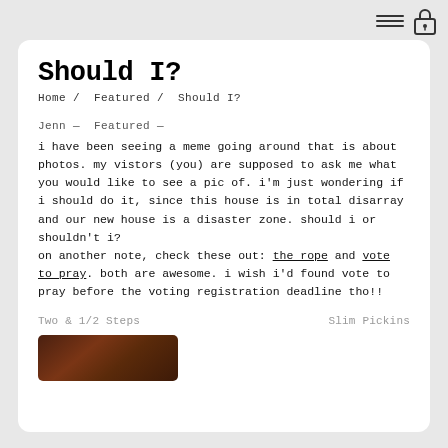≡  🔒
Should I?
Home /  Featured /  Should I?
Jenn —  Featured —
i have been seeing a meme going around that is about photos. my vistors (you) are supposed to ask me what you would like to see a pic of. i'm just wondering if i should do it, since this house is in total disarray and our new house is a disaster zone. should i or shouldn't i?
on another note, check these out: the rope and vote to pray. both are awesome. i wish i'd found vote to pray before the voting registration deadline tho!!
Two & 1/2 Steps    Slim Pickins
[Figure (photo): Partial thumbnail of a photo at the bottom of the page]